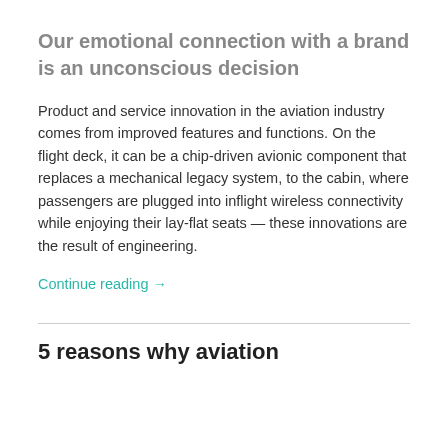Our emotional connection with a brand is an unconscious decision
Product and service innovation in the aviation industry comes from improved features and functions. On the flight deck, it can be a chip-driven avionic component that replaces a mechanical legacy system, to the cabin, where passengers are plugged into inflight wireless connectivity while enjoying their lay-flat seats — these innovations are the result of engineering.
Continue reading →
5 reasons why aviation